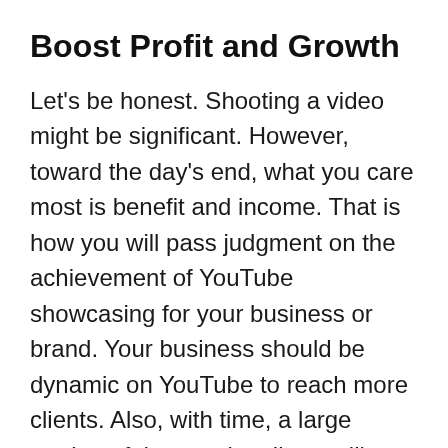Boost Profit and Growth
Let's be honest. Shooting a video might be significant. However, toward the day's end, what you care most is benefit and income. That is how you will pass judgment on the achievement of YouTube showcasing for your business or brand. Your business should be dynamic on YouTube to reach more clients. Also, with time, a large portion of those subscribers will transform into dollars. If you have bunches of subscribers enjoying or sharing your videos, it implies your crowd adores your content.